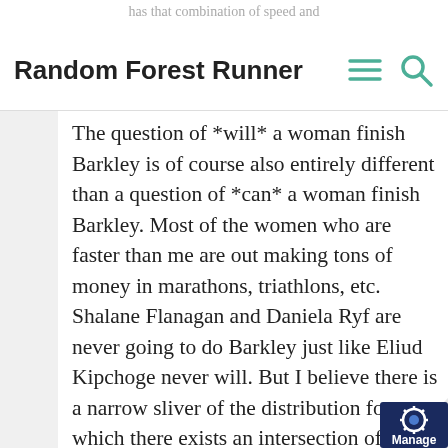has that combination of speed and
Random Forest Runner
The question of *will* a woman finish Barkley is of course also entirely different than a question of *can* a woman finish Barkley. Most of the women who are faster than me are out making tons of money in marathons, triathlons, etc. Shalane Flanagan and Daniela Ryf are never going to do Barkley just like Eliud Kipchoge never will. But I believe there is a narrow sliver of the distribution for which there exists an intersection of “can finish Barkley” and “will do Barkley and put the dedication towards it required.”
[Figure (logo): Manage badge/logo in bottom right corner with gear icon]